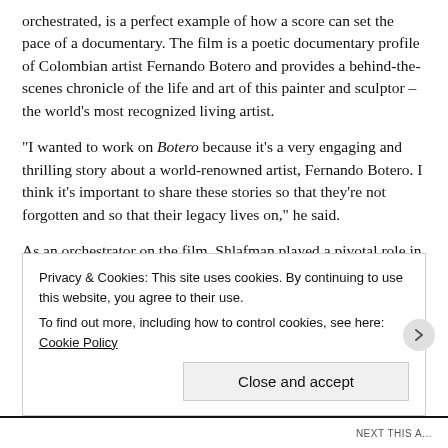orchestrated, is a perfect example of how a score can set the pace of a documentary. The film is a poetic documentary profile of Colombian artist Fernando Botero and provides a behind-the-scenes chronicle of the life and art of this painter and sculptor – the world's most recognized living artist.
"I wanted to work on Botero because it's a very engaging and thrilling story about a world-renowned artist, Fernando Botero. I think it's important to share these stories so that they're not forgotten and so that their legacy lives on," he said.
As an orchestrator on the film, Shlafman played a pivotal role in the post-production process. When a composer creates a [truncated]
Privacy & Cookies: This site uses cookies. By continuing to use this website, you agree to their use.
To find out more, including how to control cookies, see here: Cookie Policy
Close and accept